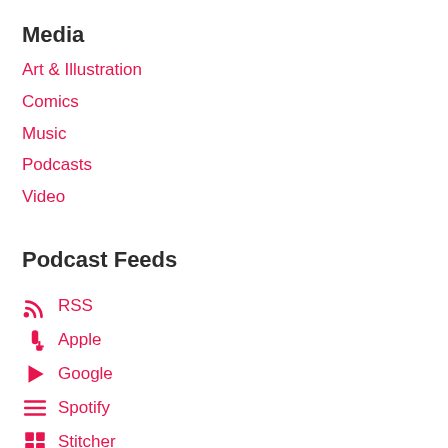Media
Art & Illustration
Comics
Music
Podcasts
Video
Podcast Feeds
RSS
Apple
Google
Spotify
Stitcher